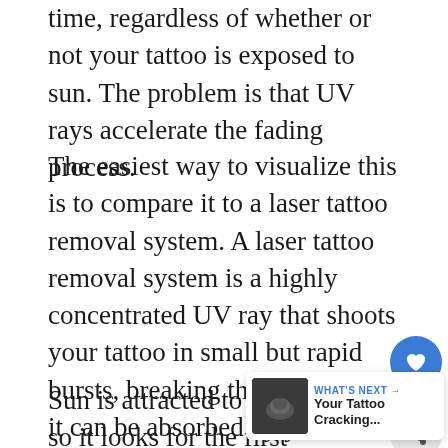time, regardless of whether or not your tattoo is exposed to sun. The problem is that UV rays accelerate the fading process.
The easiest way to visualize this is to compare it to a laser tattoo removal system. A laser tattoo removal system is a highly concentrated UV ray that shoots your tattoo in small but rapid bursts, breaking the ink apart so it can be absorbed by your bloodstream. When you sit out in the sun and tan, the UV rays do something similar to your tattoo, slowly breaking the ink apart so it is absorbed by your body and fades away.
Sun is attracted to dark colors, so it looks for the first abnormality on skin. If you don't